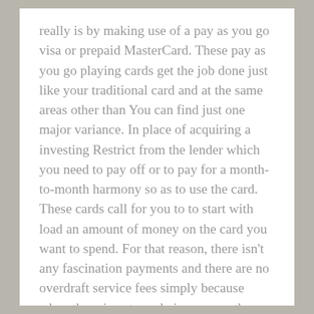really is by making use of a pay as you go visa or prepaid MasterCard. These pay as you go playing cards get the job done just like your traditional card and at the same areas other than You can find just one major variance. In place of acquiring a investing Restrict from the lender which you need to pay off or to pay for a month-to-month harmony so as to use the card. These cards call for you to to start with load an amount of money on the card you want to spend. For that reason, there isn't any fascination payments and there are no overdraft service fees simply because when there is not ample income on the card then the transaction simply will never go through.
With these prepaid visa cards you [linked text]